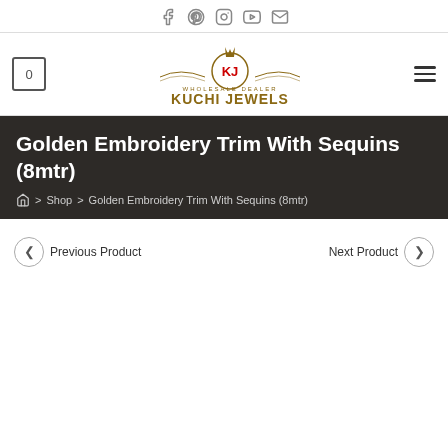Social icons: Facebook, Pinterest, Instagram, YouTube, Email
[Figure (logo): Kuchi Jewels wholesale dealer logo with ornamental design and KJ monogram]
Golden Embroidery Trim With Sequins (8mtr)
Home > Shop > Golden Embroidery Trim With Sequins (8mtr)
Previous Product | Next Product